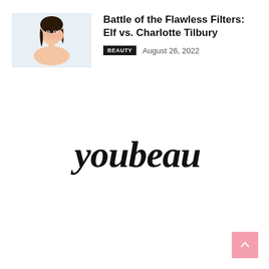[Figure (photo): Thumbnail photo of a woman with bare shoulder touching her face, light blue-white background]
Battle of the Flawless Filters: Elf vs. Charlotte Tilbury
BEAUTY   August 26, 2022
[Figure (logo): youbeauty logo in cursive/script black handwritten font]